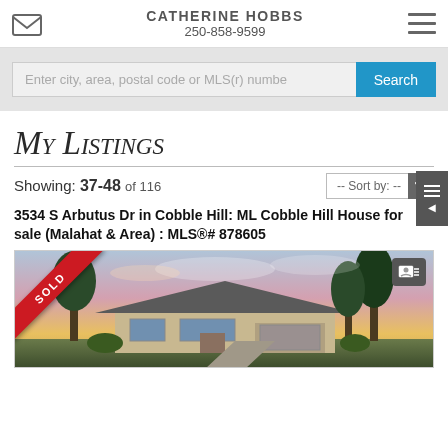CATHERINE HOBBS
250-858-9599
Enter city, area, postal code or MLS(r) numbe
My Listings
Showing: 37-48 of 116
-- Sort by: --
3534 S Arbutus Dr in Cobble Hill: ML Cobble Hill House for sale (Malahat & Area) : MLS®# 878605
[Figure (photo): House exterior photo with SOLD ribbon banner in red across top-left corner, sunset sky background with trees, and contact icon in top-right corner]